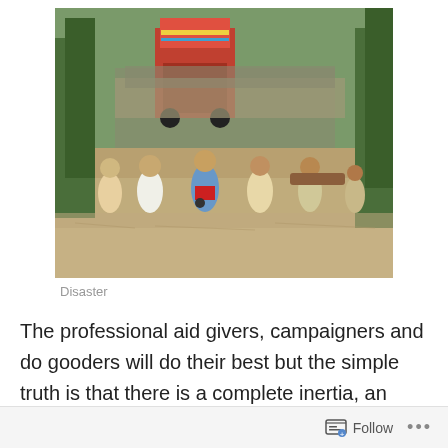[Figure (photo): People wading through floodwater on a road; a colourful truck and crowds visible in the background; trees lining the flooded road.]
Disaster
The professional aid givers, campaigners and do gooders will do their best but the simple truth is that there is a complete inertia, an ambivalence about Pakistan because of the treason that it has committed against the human race.  Sympathy for individual suffering will continue but
Follow ···